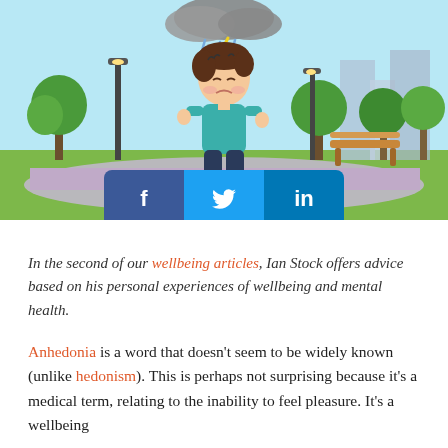[Figure (illustration): Cartoon illustration of a sad boy walking in a park with a storm cloud above him. Social media sharing buttons (Facebook, Twitter, LinkedIn) overlaid at the bottom of the image.]
In the second of our wellbeing articles, Ian Stock offers advice based on his personal experiences of wellbeing and mental health.
Anhedonia is a word that doesn't seem to be widely known (unlike hedonism). This is perhaps not surprising because it's a medical term, relating to the inability to feel pleasure. It's a wellbeing